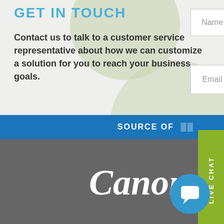GET IN TOUCH
Contact us to talk to a customer service representative about how we can customize a solution for you to reach your business goals.
Name
Email
LIVE CHAT
SOURCE OF...
[Figure (logo): Canon logo in white italic serif font on dark gray background]
[Figure (illustration): Blue circular chat bubble icon]